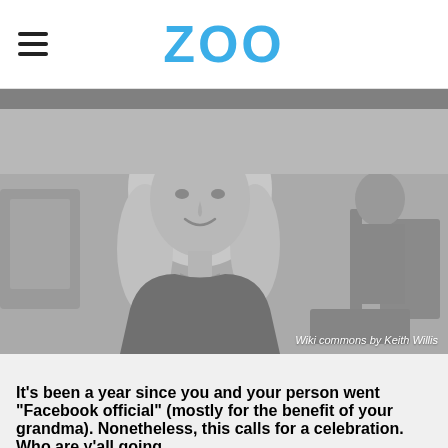ZOO
[Figure (photo): Black and white photo of a smiling blonde woman in a dark top, seated in what appears to be a TV studio setting with another person visible in the background. Photo credit: Wiki commons by Keith Willis]
Wiki commons by Keith Willis
It's been a year since you and your person went "Facebook official" (mostly for the benefit of your grandma). Nonetheless, this calls for a celebration. Who are y'all going